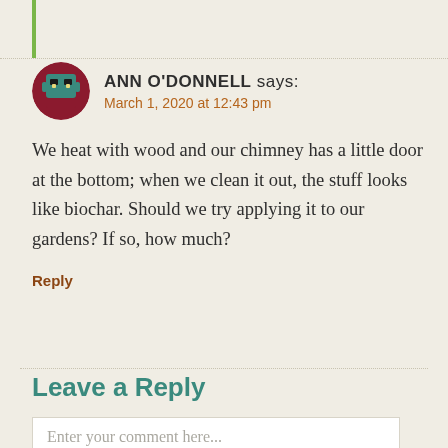ANN O'DONNELL says: March 1, 2020 at 12:43 pm
We heat with wood and our chimney has a little door at the bottom; when we clean it out, the stuff looks like biochar. Should we try applying it to our gardens? If so, how much?
Reply
Leave a Reply
Enter your comment here...